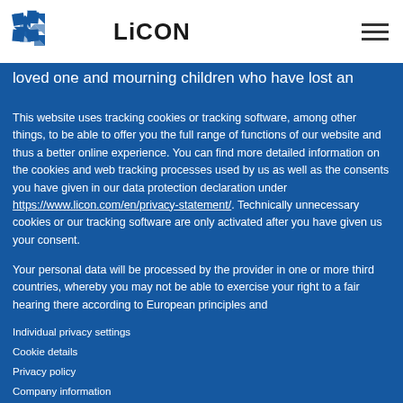[Figure (logo): LiCON logo with blue star/arrow icon and bold LiCON text]
loved one and mourning children who have lost an
This website uses tracking cookies or tracking software, among other things, to be able to offer you the full range of functions of our website and thus a better online experience. You can find more detailed information on the cookies and web tracking processes used by us as well as the consents you have given in our data protection declaration under https://www.licon.com/en/privacy-statement/. Technically unnecessary cookies or our tracking software are only activated after you have given us your consent.
Your personal data will be processed by the provider in one or more third countries, whereby you may not be able to exercise your right to a fair hearing there according to European principles and
Individual privacy settings
Cookie details
Privacy policy
Company information
Essential   Marketing   External media